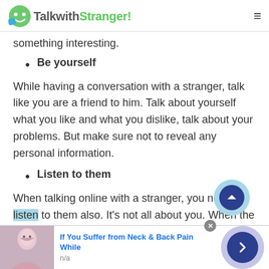TalkwithStranger!
something interesting.
Be yourself
While having a conversation with a stranger, talk like you are a friend to him. Talk about yourself what you like and what you dislike, talk about your problems. But make sure not to reveal any personal information.
Listen to them
When talking online with a stranger, you need to listen to them also. It's not all about you. When the stranger tells
[Figure (infographic): Advertisement bar at bottom with image of woman, text 'If You Suffer from Neck & Back Pain While', subtext 'n/a', a close button, and a blue arrow button]
[Figure (other): Scroll-to-top button: light blue circle with dark blue inner circle and up-arrow chevron]